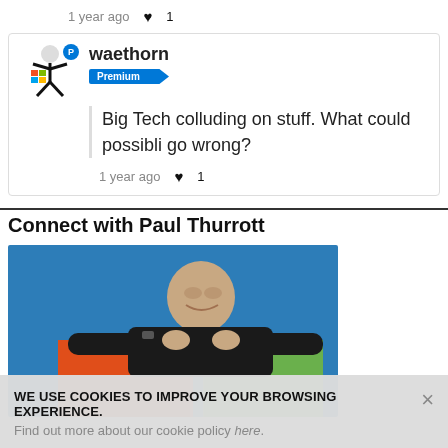1 year ago ♥ 1
waethorn
Premium
Big Tech colluding on stuff. What could possibli go wrong?
1 year ago ♥ 1
Connect with Paul Thurrott
[Figure (photo): Photo of Paul Thurrott leaning over colorful panels (orange and green) against a blue background]
WE USE COOKIES TO IMPROVE YOUR BROWSING EXPERIENCE.
Find out more about our cookie policy here.